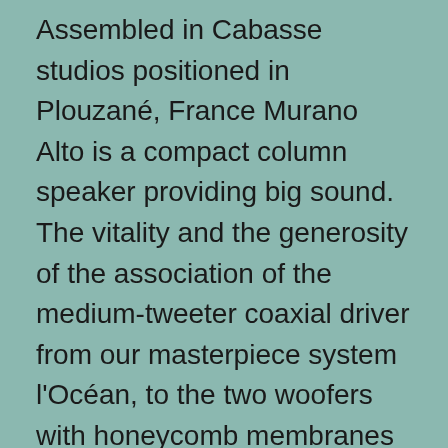Assembled in Cabasse studios positioned in Plouzané, France Murano Alto is a compact column speaker providing big sound. The vitality and the generosity of the association of the medium-tweeter coaxial driver from our masterpiece system l'Océan, to the two woofers with honeycomb membranes make it attainable to peruse via all genres of music procuring intense delight to listeners everywhere. 3. Look and Act Like You Belong. Dress for the occasion in suitable, properly-fitting clothes. Be conscious of your posture and stay away from slouching or leaning on the podium. Speaking in pleasing,